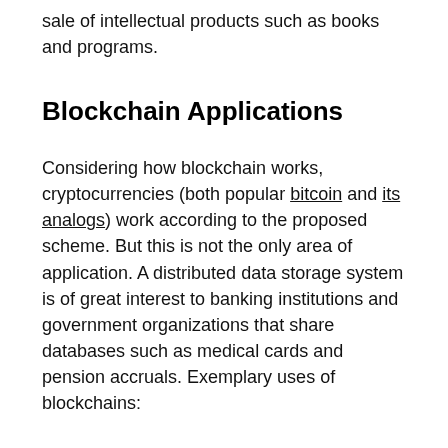sale of intellectual products such as books and programs.
Blockchain Applications
Considering how blockchain works, cryptocurrencies (both popular bitcoin and its analogs) work according to the proposed scheme. But this is not the only area of application. A distributed data storage system is of great interest to banking institutions and government organizations that share databases such as medical cards and pension accruals. Exemplary uses of blockchains:
Ownership (authorship)